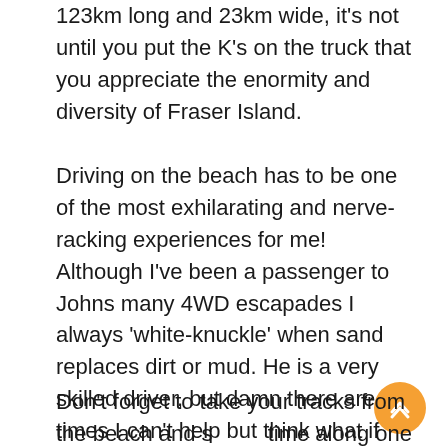123km long and 23km wide, it's not until you put the K's on the truck that you appreciate the enormity and diversity of Fraser Island.
Driving on the beach has to be one of the most exhilarating and nerve-racking experiences for me! Although I've been a passenger to Johns many 4WD escapades I always 'white-knuckle' when sand replaces dirt or mud. He is a very skilled driver, but damn there are times I can't help but think what if the truck catches an edge and we roll over. Is this even possible? 'Quit worrying Tammy' is what John would say. White knuckles aside, driving along the beach is so unique, and it goes against the grain of what most of us know and are used to with our daily driving life and routine.
Don't forget to take your tracks from the beach and spend time along one of the many inland scenic drives. The lush forests and spectacular views are magnificent on the island and...